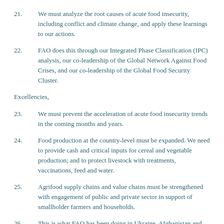21.     We must analyze the root causes of acute food insecurity, including conflict and climate change, and apply these learnings to our actions.
22.     FAO does this through our Integrated Phase Classification (IPC) analysis, our co-leadership of the Global Network Against Food Crises, and our co-leadership of the Global Food Security Cluster.
Excellencies,
23.     We must prevent the acceleration of acute food insecurity trends in the coming months and years.
24.     Food production at the country-level must be expanded. We need to provide cash and critical inputs for cereal and vegetable production; and to protect livestock with treatments, vaccinations, feed and water.
25.     Agrifood supply chains and value chains must be strengthened with engagement of public and private sector in support of smallholder farmers and households.
26.     This is what FAO has been doing in Ukraine, Afghanistan and other countries.